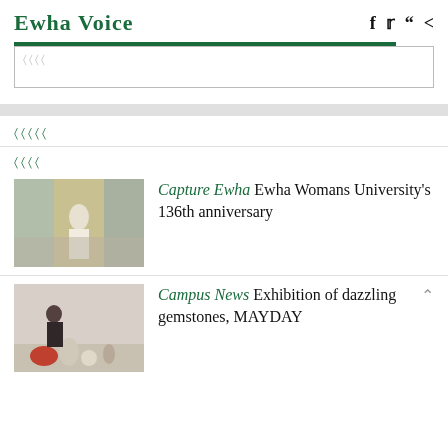Ewha Voice
[Figure (screenshot): Search box with green progress bar at top]
광고
광고
[Figure (photo): Performance photo for Ewha Womans University 136th anniversary article]
Capture Ewha  Ewha Womans University's 136th anniversary
[Figure (photo): Exhibition photo showing pottery and gemstones for MAYDAY article]
Campus News  Exhibition of dazzling gemstones, MAYDAY